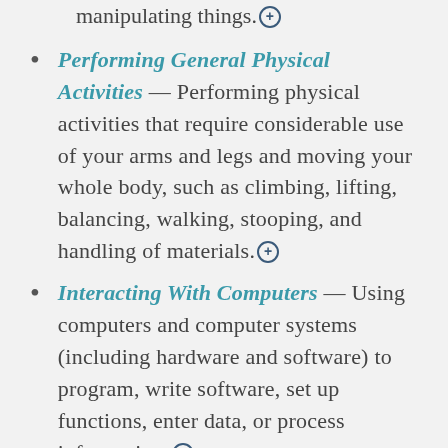manipulating things. [+]
Performing General Physical Activities — Performing physical activities that require considerable use of your arms and legs and moving your whole body, such as climbing, lifting, balancing, walking, stooping, and handling of materials. [+]
Interacting With Computers — Using computers and computer systems (including hardware and software) to program, write software, set up functions, enter data, or process information. [+]